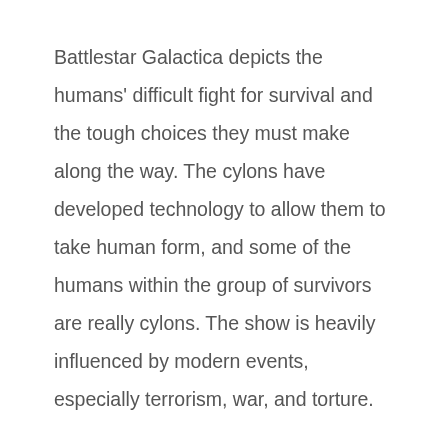Battlestar Galactica depicts the humans' difficult fight for survival and the tough choices they must make along the way. The cylons have developed technology to allow them to take human form, and some of the humans within the group of survivors are really cylons. The show is heavily influenced by modern events, especially terrorism, war, and torture.